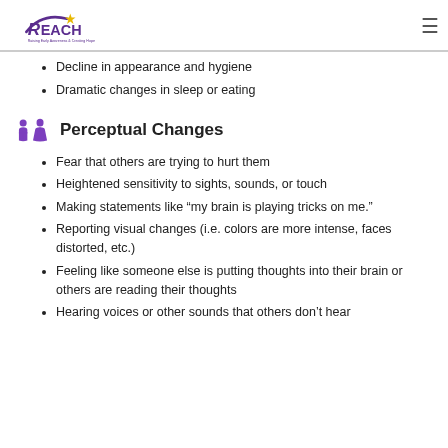REACH — Raising Early Awareness & Creating Hope
Decline in appearance and hygiene
Dramatic changes in sleep or eating
Perceptual Changes
Fear that others are trying to hurt them
Heightened sensitivity to sights, sounds, or touch
Making statements like “my brain is playing tricks on me.”
Reporting visual changes (i.e. colors are more intense, faces distorted, etc.)
Feeling like someone else is putting thoughts into their brain or others are reading their thoughts
Hearing voices or other sounds that others don’t hear